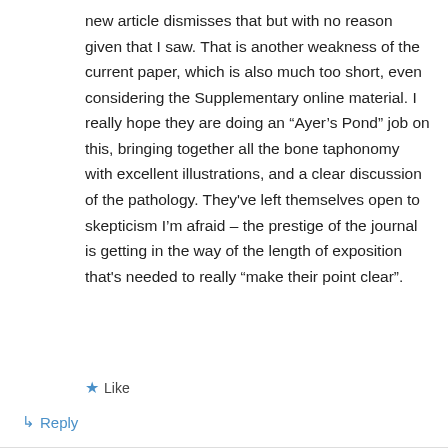new article dismisses that but with no reason given that I saw. That is another weakness of the current paper, which is also much too short, even considering the Supplementary online material. I really hope they are doing an “Ayer’s Pond” job on this, bringing together all the bone taphonomy with excellent illustrations, and a clear discussion of the pathology. They've left themselves open to skepticism I’m afraid – the prestige of the journal is getting in the way of the length of exposition that's needed to really “make their point clear”.
★ Like
↳ Reply